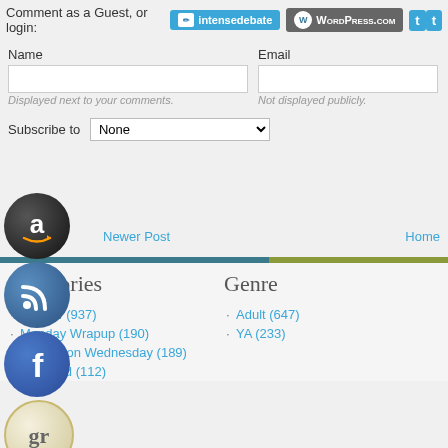Comment as a Guest, or login: intensedebate WordPress.com t[witter]
Name
Email
Displayed next to your comments.
Not displayed publicly.
Subscribe to None
Newer Post
Home
[Figure (screenshot): Social media icons: Amazon, RSS, Facebook, Goodreads, Email]
Categories
Genre
Review (937)
Monday Wrapup (190)
Waiting on Wednesday (189)
Featured (112)
Adult (647)
YA (233)